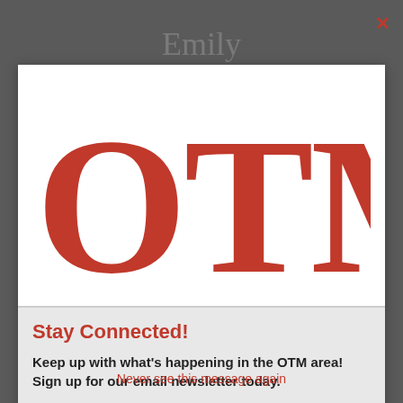Emily
[Figure (logo): OTMJ magazine logo in large red serif letters on white background]
Stay Connected!
Keep up with what's happening in the OTM area! Sign up for our email newsletter today.
johnsmith@example.com
Subscribe
Hoover
Never see this message again
Hoover High